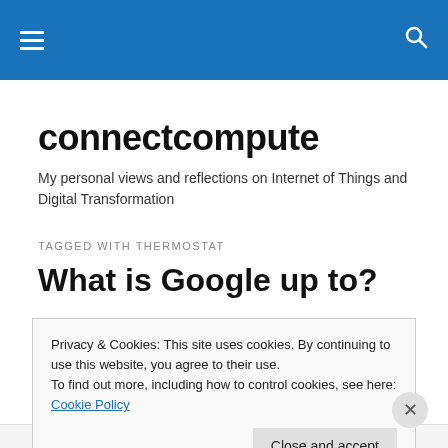connectcompute — site navigation header bar
connectcompute
My personal views and reflections on Internet of Things and Digital Transformation
TAGGED WITH THERMOSTAT
What is Google up to?
Privacy & Cookies: This site uses cookies. By continuing to use this website, you agree to their use.
To find out more, including how to control cookies, see here: Cookie Policy
Close and accept
Advertisements